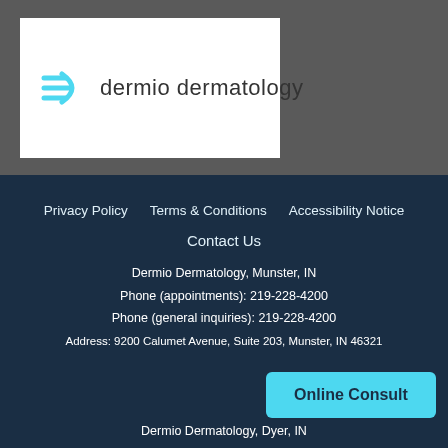[Figure (logo): Dermio Dermatology logo with teal 'D' icon and text]
Privacy Policy   Terms & Conditions   Accessibility Notice
Contact Us
Dermio Dermatology, Munster, IN
Phone (appointments): 219-228-4200
Phone (general inquiries): 219-228-4200
Address: 9200 Calumet Avenue, Suite 203, Munster, IN 46321
Online Consult
Dermio Dermatology, Dyer, IN